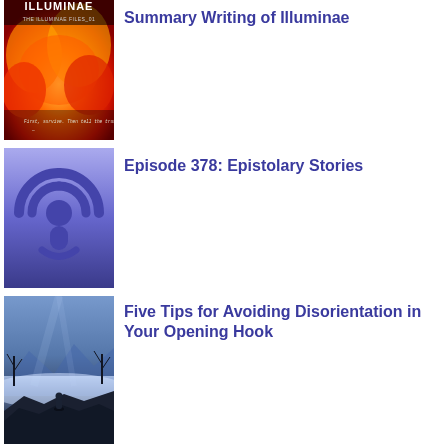[Figure (illustration): Book cover of Illuminae - The Illuminae Files_01, showing red/orange flame-like imagery with text 'First, survive. Then tell the truth.']
Summary Writing of Illuminae
[Figure (illustration): Podcast icon - purple/blue gradient background with white podcast broadcast symbol]
Episode 378: Epistolary Stories
[Figure (illustration): Fantasy scene - dark atmospheric image with a lone figure standing amid fog, blue-toned rocky landscape with bare trees]
Five Tips for Avoiding Disorientation in Your Opening Hook